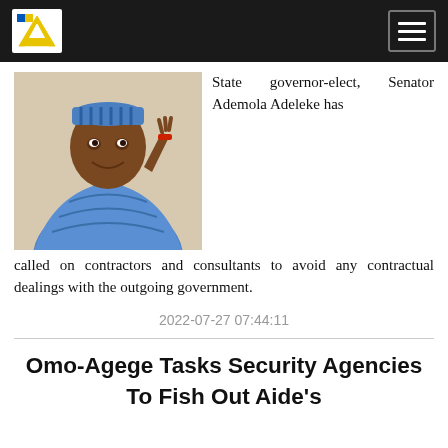[Navigation bar with logo and hamburger menu]
[Figure (photo): Photo of a man in blue traditional Nigerian attire with his hand raised near his face, smiling]
State governor-elect, Senator Ademola Adeleke has called on contractors and consultants to avoid any contractual dealings with the outgoing government.
2022-07-27 07:44:11
Omo-Agege Tasks Security Agencies To Fish Out Aide's